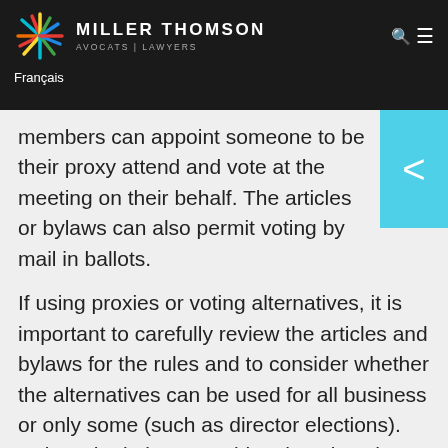MILLER THOMSON AVOCATS | LAWYERS
Français
members can appoint someone to be their proxy attend and vote at the meeting on their behalf. The articles or bylaws can also permit voting by mail in ballots.
If using proxies or voting alternatives, it is important to carefully review the articles and bylaws for the rules and to consider whether the alternatives can be used for all business or only some (such as director elections). Unless the bylaws provide otherwise, the proxy must be a member of the corporation.
Adjourning or Postponing Meetings